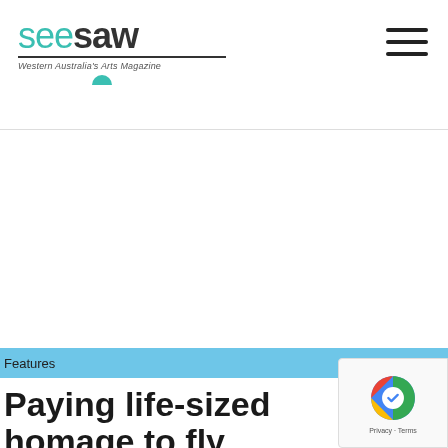seesaw — Western Australia's Arts Magazine
Features
Paying life-sized homage to flying machines